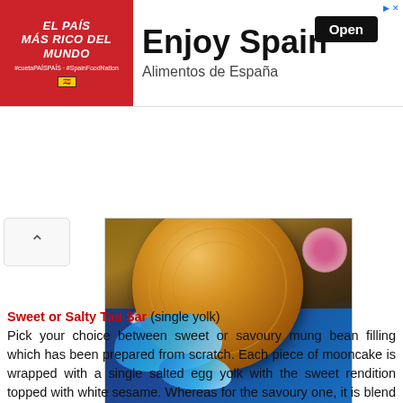[Figure (other): Advertisement banner for Enjoy Spain / Alimentos de España with red left panel showing 'El País Más Rico Del Mundo' and right panel with large text 'Enjoy Spain', 'Alimentos de España', and 'Open' button]
[Figure (photo): Photo of a mooncake (baked pastry with golden-brown top) placed on a blue decorative box/packaging with white lace doily and floral designs, on a wooden surface]
Sweet or Salty Tau Sar (single yolk) Pick your choice between sweet or savoury mung bean filling which has been prepared from scratch. Each piece of mooncake is wrapped with a single salted egg yolk with the sweet rendition topped with white sesame. Whereas for the savoury one, it is blend with salty mung bean paste, fried shallots, white sesame and seasoned with white pepper. Medium (4 pieces per box) @ SG$24.80, Large (1 piece per box) @ SG$22.80